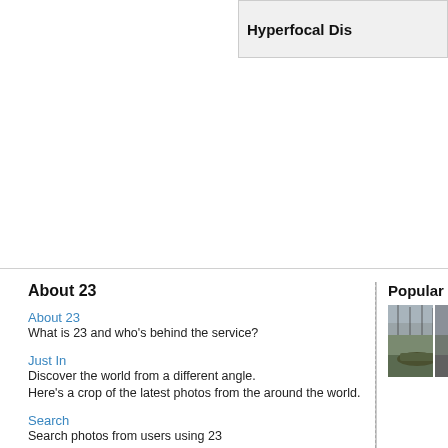Hyperfocal Dis…
About 23
About 23
What is 23 and who's behind the service?
Just In
Discover the world from a different angle.
Here's a crop of the latest photos from the around the world.
Search
Search photos from users using 23
Help / Discussion
Get help or share your ideas to make 23 better
23 Blog / 23 on Twitter
Messages and observations from Team 23
Terms of use
What can 23 be used for and what isn't allowed
More services from 23
We also help people use photo sharing in their professional lives
Popular photos
[Figure (photo): Two photos of boats/marina, cropped at right edge]